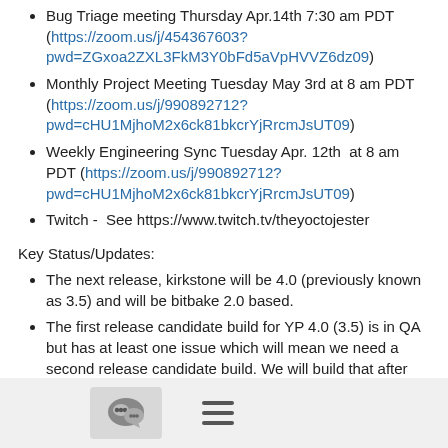Bug Triage meeting Thursday Apr.14th 7:30 am PDT (https://zoom.us/j/454367603?pwd=ZGxoa2ZXL3FkM3Y0bFd5aVpHVVZ6dz09)
Monthly Project Meeting Tuesday May 3rd at 8 am PDT (https://zoom.us/j/990892712?pwd=cHU1MjhoM2x6ck81bkcrYjRrcmJsUT09)
Weekly Engineering Sync Tuesday Apr. 12th  at 8 am PDT (https://zoom.us/j/990892712?pwd=cHU1MjhoM2x6ck81bkcrYjRrcmJsUT09)
Twitch -  See https://www.twitch.tv/theyoctojester
Key Status/Updates:
The next release, kirkstone will be 4.0 (previously known as 3.5) and will be bitbake 2.0 based.
The first release candidate build for YP 4.0 (3.5) is in QA but has at least one issue which will mean we need a second release candidate build. We will build that after the final QA report is back.